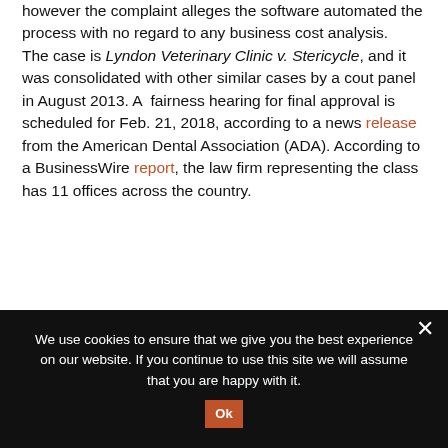however the complaint alleges the software automated the process with no regard to any business cost analysis. The case is Lyndon Veterinary Clinic v. Stericycle, and it was consolidated with other similar cases by a cout panel in August 2013. A fairness hearing for final approval is scheduled for Feb. 21, 2018, according to a news release from the American Dental Association (ADA). According to a BusinessWire report, the law firm representing the class has 11 offices across the country.
[Figure (other): Social sharing buttons: Facebook (blue), Twitter (light blue), Email/envelope (gray), Plus/more (orange-red)]
We use cookies to ensure that we give you the best experience on our website. If you continue to use this site we will assume that you are happy with it.